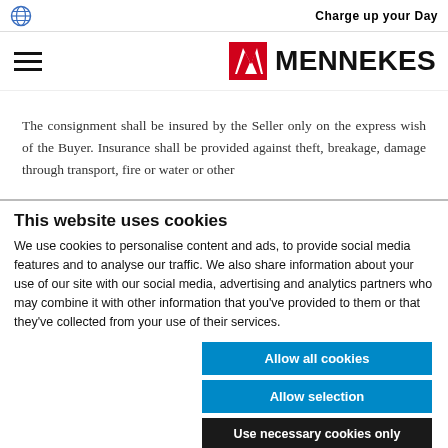CHARGE UP YOUR DAY
[Figure (logo): Mennekes logo with red chevron badge and bold MENNEKES wordmark]
The consignment shall be insured by the Seller only on the express wish of the Buyer. Insurance shall be provided against theft, breakage, damage through transport, fire or water or other
This website uses cookies
We use cookies to personalise content and ads, to provide social media features and to analyse our traffic. We also share information about your use of our site with our social media, advertising and analytics partners who may combine it with other information that you've provided to them or that they've collected from your use of their services.
Allow all cookies
Allow selection
Use necessary cookies only
Necessary  Preferences  Statistics  Marketing  Show details